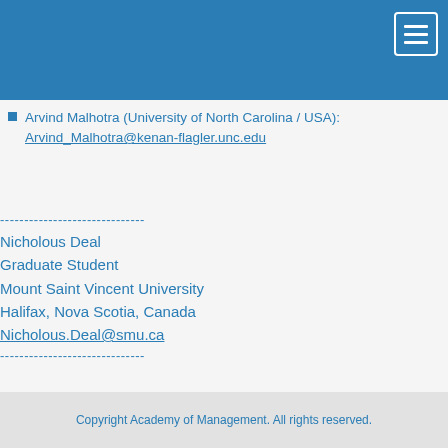Arvind Malhotra (University of North Carolina / USA): Arvind_Malhotra@kenan-flagler.unc.edu
------------------------------
Nicholous Deal
Graduate Student
Mount Saint Vincent University
Halifax, Nova Scotia, Canada
Nicholous.Deal@smu.ca
------------------------------
Copyright Academy of Management. All rights reserved.